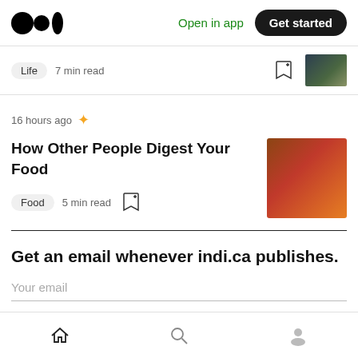Medium logo | Open in app | Get started
Life  7 min read
16 hours ago ✦
How Other People Digest Your Food
Food  5 min read
Get an email whenever indi.ca publishes.
Your email
Home | Search | Profile